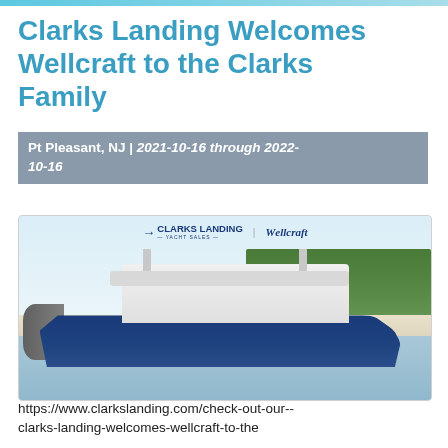Clarks Landing Welcomes Wellcraft to the Clarks Family
Pt Pleasant, NJ | 2021-10-16 through 2022-10-16
[Figure (photo): A blue and white Wellcraft center console boat on the water with people aboard, with Clarks Landing Yacht Sales and Wellcraft logos visible at the top of the image, sandy beach and green trees in the background.]
https://www.clarkslanding.com/check-out-our--clarks-landing-welcomes-wellcraft-to-the